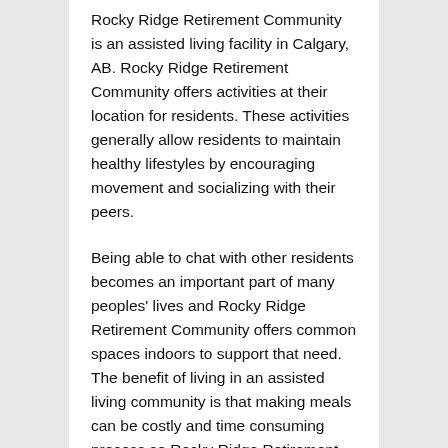Rocky Ridge Retirement Community is an assisted living facility in Calgary, AB. Rocky Ridge Retirement Community offers activities at their location for residents. These activities generally allow residents to maintain healthy lifestyles by encouraging movement and socializing with their peers.
Being able to chat with other residents becomes an important part of many peoples' lives and Rocky Ridge Retirement Community offers common spaces indoors to support that need. The benefit of living in an assisted living community is that making meals can be costly and time consuming process so Rocky Ridge Retirement Community provides meals for